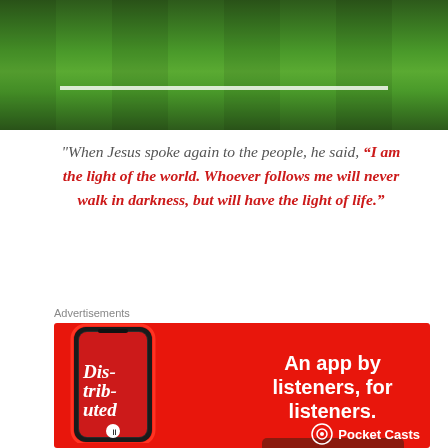[Figure (photo): Green grass/sports field photo at top of page]
"When Jesus spoke again to the people, he said, "I am the light of the world. Whoever follows me will never walk in darkness, but will have the light of life."
Advertisements
[Figure (illustration): Pocket Casts app advertisement on red background with smartphone showing podcast app, text: An app by listeners, for listeners. Download now. Pocket Casts logo at bottom.]